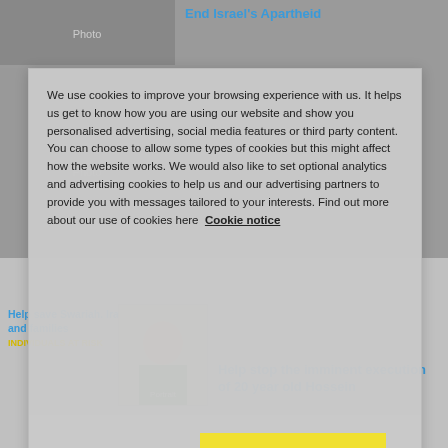End Israel's Apartheid
[Figure (photo): Photo of rubble and destruction]
[Figure (photo): Photo of person standing amid debris]
Help save Swariah. Iranian doctors and families at risk. INDIVIDUALS AT RISK
We use cookies to improve your browsing experience with us. It helps us get to know how you are using our website and show you personalised advertising, social media features or third party content. You can choose to allow some types of cookies but this might affect how the website works. We would also like to set optional analytics and advertising cookies to help us and our advertising partners to provide you with messages tailored to your interests. Find out more about our use of cookies here Cookie notice
Cookies Settings
Accept Cookies
[Figure (photo): Portrait photo of young man (Hossein)]
Help stop the imminent execution of 20 year old Hossein